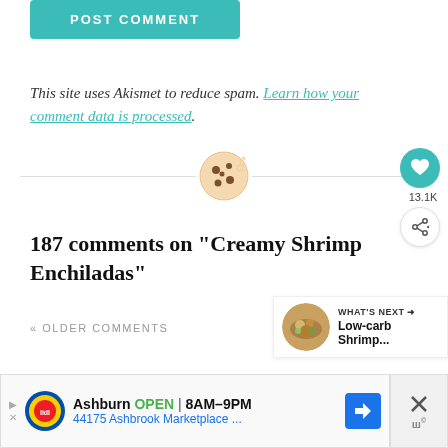POST COMMENT
This site uses Akismet to reduce spam. Learn how your comment data is processed.
[Figure (illustration): Cookie emoji icon centered on a horizontal divider line]
[Figure (infographic): Heart/like button showing 13.1K count, and share button]
187 comments on “Creamy Shrimp Enchiladas”
« OLDER COMMENTS
[Figure (infographic): What's Next panel with food image thumbnail and text: Low-carb Shrimp...]
[Figure (infographic): Advertisement bar: Ashburn OPEN 8AM-9PM, 44175 Ashbrook Marketplace ..., Lidl logo, navigation arrow icon, close X button]